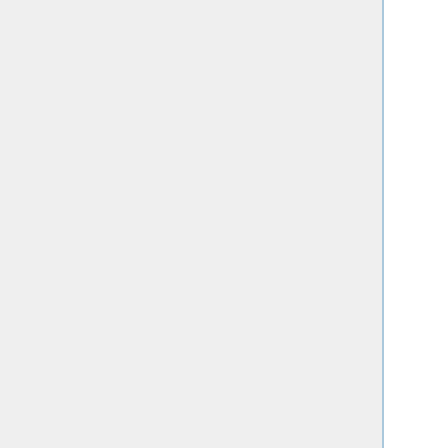mass, semi-detached binary systems. Both stars had polytropic equations of state but, otherwise, the initially synchronously rotating model configurations were chosen to represent white dwarf pairs. Numerous evolutions were followed